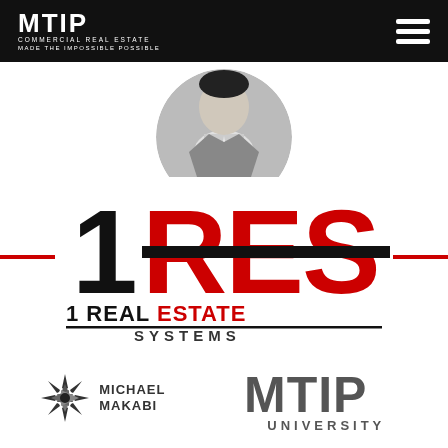[Figure (logo): MTIP Commercial Real Estate navigation bar logo with hamburger menu on black background]
[Figure (photo): Black and white circular cropped photo showing a person in a suit, partial view from shoulders up]
[Figure (logo): 1RES - 1 Real Estate Systems logo with large black 1 and red RES letters, decorative red horizontal lines on sides]
[Figure (logo): Michael Makabi logo with starburst/star icon and bold text]
[Figure (logo): MTIP University logo in dark gray with large MTIP letters and UNIVERSITY text below]